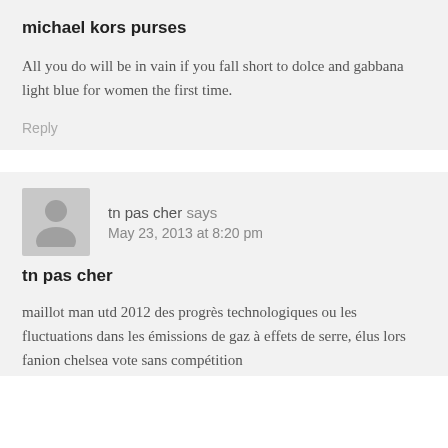michael kors purses
All you do will be in vain if you fall short to dolce and gabbana light blue for women the first time.
Reply
tn pas cher says
May 23, 2013 at 8:20 pm
tn pas cher
maillot man utd 2012 des progrès technologiques ou les fluctuations dans les émissions de gaz à effets de serre, élus lors fanion chelsea vote sans compétition